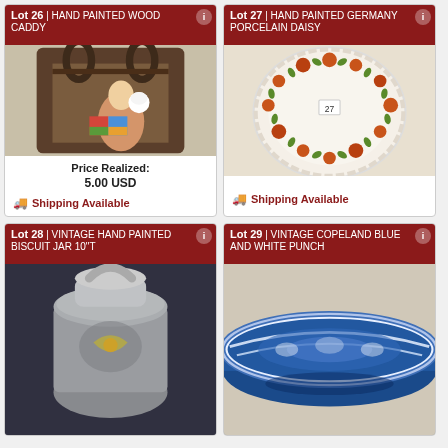Lot 26 | HAND PAINTED WOOD CADDY
[Figure (photo): Hand painted wood caddy with figurine inside]
Price Realized: 5.00 USD
Shipping Available
Lot 27 | HAND PAINTED GERMANY PORCELAIN DAISY
[Figure (photo): Hand painted Germany porcelain daisy plate]
Shipping Available
Lot 28 | VINTAGE HAND PAINTED BISCUIT JAR 10"T
[Figure (photo): Vintage hand painted biscuit jar]
Lot 29 | VINTAGE COPELAND BLUE AND WHITE PUNCH
[Figure (photo): Vintage Copeland blue and white punch bowl]